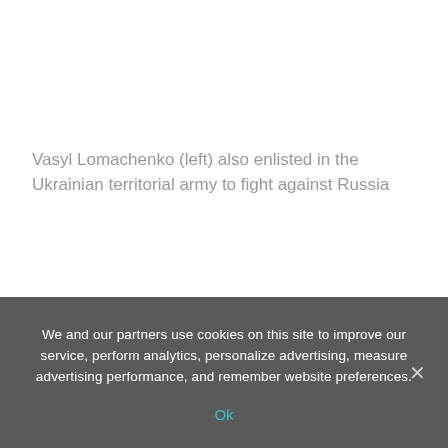Vasyl Lomachenko (left) also enlisted in the Ukrainian territorial army to fight against Russia
We and our partners use cookies on this site to improve our service, perform analytics, personalize advertising, measure advertising performance, and remember website preferences.
Ok